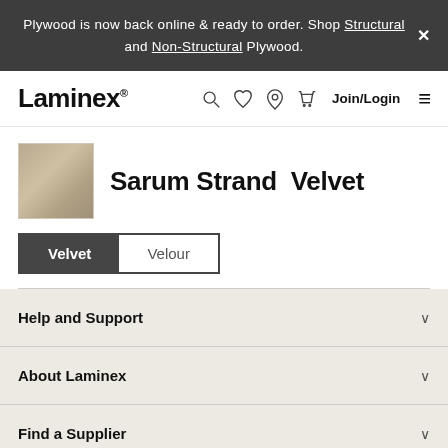Plywood is now back online & ready to order. Shop Structural and Non-Structural Plywood.
[Figure (logo): Laminex logo with navigation icons (search, heart, location, basket) and Join/Login link]
Sarum Strand  Velvet
Velvet | Velour (tab selector)
Help and Support
About Laminex
Find a Supplier